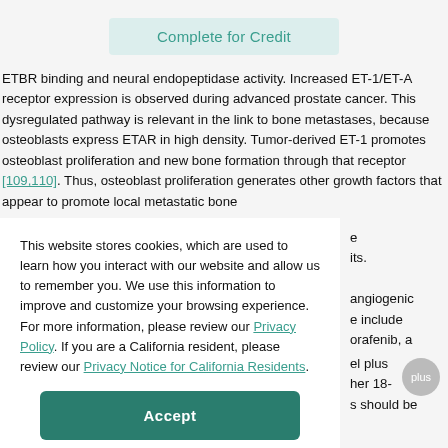Complete for Credit
ETBR binding and neural endopeptidase activity. Increased ET-1/ET-A receptor expression is observed during advanced prostate cancer. This dysregulated pathway is relevant in the link to bone metastases, because osteoblasts express ETAR in high density. Tumor-derived ET-1 promotes osteoblast proliferation and new bone formation through that receptor [109,110]. Thus, osteoblast proliferation generates other growth factors that appear to promote local metastatic bone
This website stores cookies, which are used to learn how you interact with our website and allow us to remember you. We use this information to improve and customize your browsing experience. For more information, please review our Privacy Policy. If you are a California resident, please review our Privacy Notice for California Residents.
confirmed in large-scale clinical trials [112].